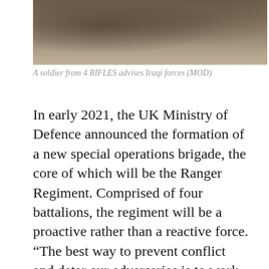[Figure (photo): A soldier from 4 RIFLES in military gear advising Iraqi forces, outdoor desert/dusty environment]
A soldier from 4 RIFLES advises Iraqi forces (MOD)
In early 2021, the UK Ministry of Defence announced the formation of a new special operations brigade, the core of which will be the Ranger Regiment. Comprised of four battalions, the regiment will be a proactive rather than a reactive force. “The best way to prevent conflict and deter our adversaries is to work alongside partners to strengthen their security and resilience,” said Defence